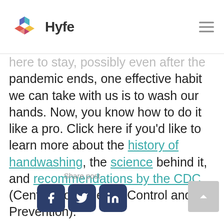Hyfe
here to stay, possibly even after the pandemic ends, one effective habit we can take with us is to wash our hands. Now, you know how to do it like a pro. Click here if you'd like to learn more about the history of handwashing, the science behind it, and recommendations by the CDC (Centers for Disease Control and Prevention).
Share post